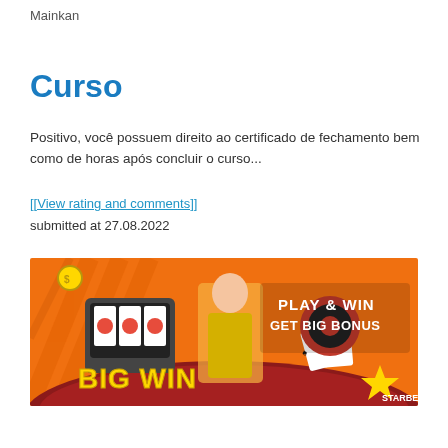Mainkan
Curso
Positivo, você possuem direito ao certificado de fechamento bem como de horas após concluir o curso...
[[View rating and comments]]
submitted at 27.08.2022
[Figure (illustration): Casino advertisement banner with orange background showing slot machine, playing cards, roulette, woman dealer, 'BIG WIN' text in gold, and 'PLAY & WIN GET BIG BONUS' text with Starbet303 logo]